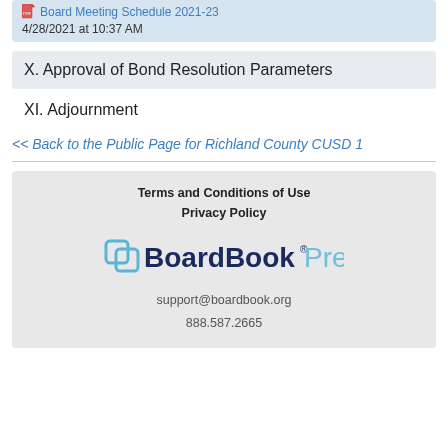Board Meeting Schedule 2021-23
4/28/2021 at 10:37 AM
X. Approval of Bond Resolution Parameters
XI. Adjournment
<< Back to the Public Page for Richland County CUSD 1
Terms and Conditions of Use
Privacy Policy
BoardBook Premier
support@boardbook.org
888.587.2665